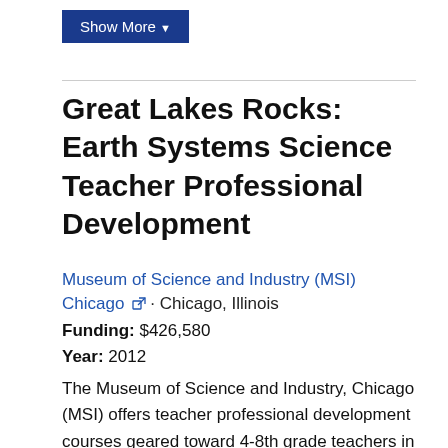Show More ▼
Great Lakes Rocks: Earth Systems Science Teacher Professional Development
Museum of Science and Industry (MSI) Chicago · Chicago, Illinois
Funding: $426,580
Year: 2012
The Museum of Science and Industry, Chicago (MSI) offers teacher professional development courses geared toward 4-8th grade teachers in high needs schools and with limited experience in science